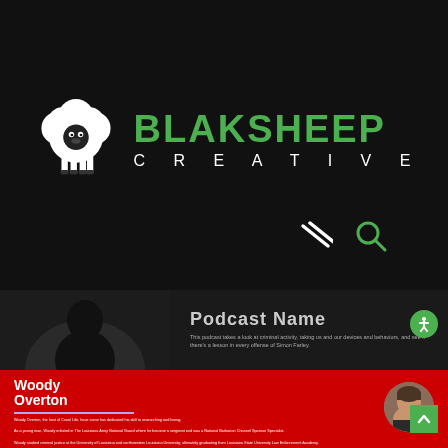[Figure (logo): BlakSheep Creative logo — white cartoon sheep icon on left, bold green BLAKSHEEP text and white CREATIVE subtitle on right, on black background]
[Figure (screenshot): Website screenshot showing a podcast section with dark background, a person image on left with text 'Podcast Name' and a description. Below is a red section with person profile: Woody Overton, with biographical text paragraphs and a circular photo of the person.]